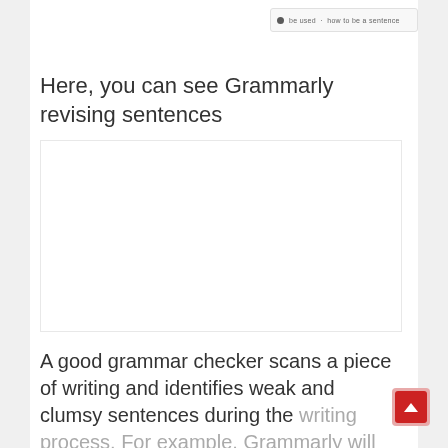[Figure (screenshot): A browser or application UI bar showing a small dot icon and text label, resembling a Grammarly interface element]
Here, you can see Grammarly revising sentences
[Figure (screenshot): Screenshot area showing Grammarly revising sentences in a document editor - white area representing the tool interface]
A good grammar checker scans a piece of writing and identifies weak and clumsy sentences during the writing process. For example, Grammarly will highlight potential english grammar errors, like a run-